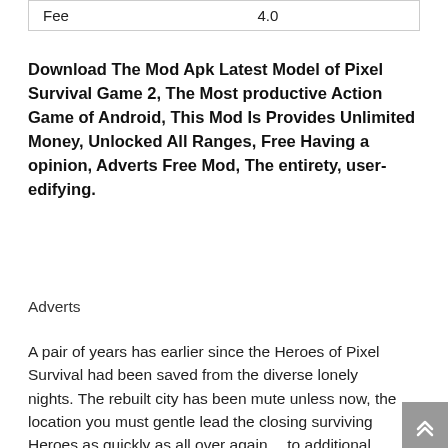| Fee | 4.0 |
Download The Mod Apk Latest Model of Pixel Survival Game 2, The Most productive Action Game of Android, This Mod Is Provides Unlimited Money, Unlocked All Ranges, Free Having a opinion, Adverts Free Mod, The entirety, user-edifying.
Adverts
A pair of years has earlier since the Heroes of Pixel Survival had been saved from the diverse lonely nights. The rebuilt city has been mute unless now, the location you must gentle lead the closing surviving Heroes as quickly as all over again… to additional crafting, establishing, survival and monster taking a opinion!